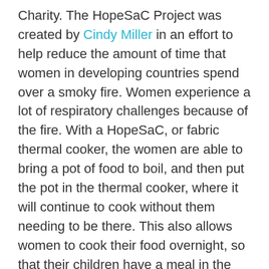Charity. The HopeSaC Project was created by Cindy Miller in an effort to help reduce the amount of time that women in developing countries spend over a smoky fire. Women experience a lot of respiratory challenges because of the fire. With a HopeSaC, or fabric thermal cooker, the women are able to bring a pot of food to boil, and then put the pot in the thermal cooker, where it will continue to cook without them needing to be there. This also allows women to cook their food overnight, so that their children have a meal in the morning.
This is also an opportunity for people who crochet to make hot pads for the women to use. Often, they are forced to use leaves or their clothing to keep from burning their